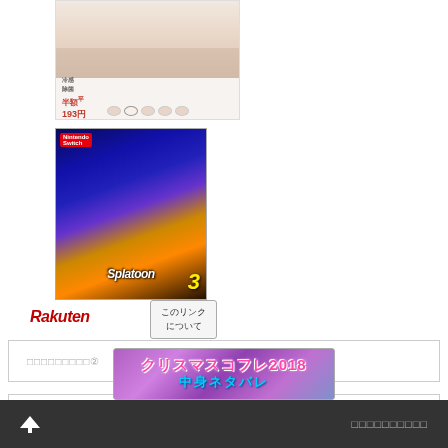[Figure (photo): Advertisement banner for face masks with Japanese text showing 半額 (half price) and 193円, with a woman wearing a mask and product dots at bottom]
[Figure (photo): Nintendo Switch game box for Splatoon 3 with colorful artwork showing characters on dark blue/yellow background]
[Figure (logo): Rakuten logo in red italic text]
このリンク について
□□□□□□□□□②
□□□□□□□□
[Figure (photo): Banner image for クリスマスコフレ2018 中身ネタバレ (Christmas coffret 2018 contents spoiler) with purple bokeh background]
□□□□□□□□□□
[Figure (illustration): Up arrow icon in white on dark grey footer bar]